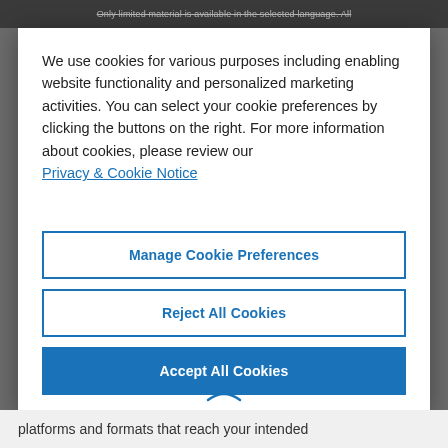Only limited material is available in the selected language. All
We use cookies for various purposes including enabling website functionality and personalized marketing activities. You can select your cookie preferences by clicking the buttons on the right. For more information about cookies, please review our Privacy & Cookie Notice
Manage Cookie Preferences
Reject All Cookies
Accept All Cookies
platforms and formats that reach your intended